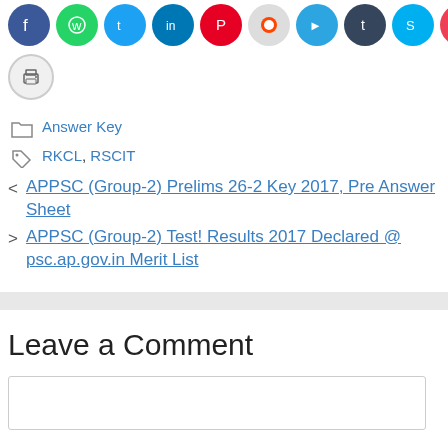[Figure (other): Row of social media share icons: Facebook, WhatsApp, Twitter, LinkedIn, Pinterest, Reddit, Telegram, Tumblr, Skype, Pocket]
[Figure (other): Print icon button (grey circle with printer symbol)]
Answer Key
RKCL, RSCIT
< APPSC (Group-2) Prelims 26-2 Key 2017, Pre Answer Sheet
> APPSC (Group-2) Test! Results 2017 Declared @ psc.ap.gov.in Merit List
Leave a Comment